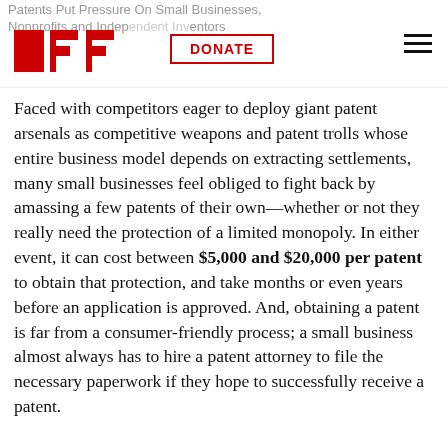Patents Put Pressure On Small Businesses, Nonprofits, and Independent Inventors | EFF — DONATE
Faced with competitors eager to deploy giant patent arsenals as competitive weapons and patent trolls whose entire business model depends on extracting settlements, many small businesses feel obliged to fight back by amassing a few patents of their own—whether or not they really need the protection of a limited monopoly. In either event, it can cost between $5,000 and $20,000 per patent to obtain that protection, and take months or even years before an application is approved. And, obtaining a patent is far from a consumer-friendly process; a small business almost always has to hire a patent attorney to file the necessary paperwork if they hope to successfully receive a patent.